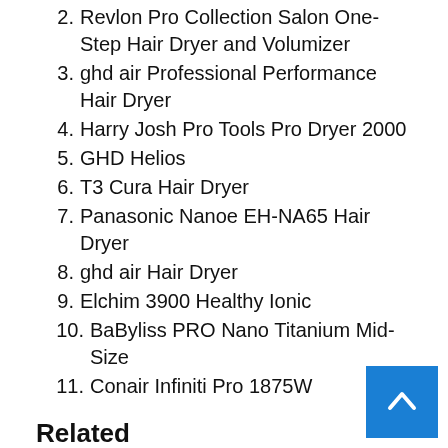2. Revlon Pro Collection Salon One-Step Hair Dryer and Volumizer
3. ghd air Professional Performance Hair Dryer
4. Harry Josh Pro Tools Pro Dryer 2000
5. GHD Helios
6. T3 Cura Hair Dryer
7. Panasonic Nanoe EH-NA65 Hair Dryer
8. ghd air Hair Dryer
9. Elchim 3900 Healthy Ionic
10. BaByliss PRO Nano Titanium Mid-Size
11. Conair Infiniti Pro 1875W
Related
Foundations
1. Estée Lauder Double Wear Stay-in-Place Mak…
2. Giorgio Armani Luminous Silk Foundation